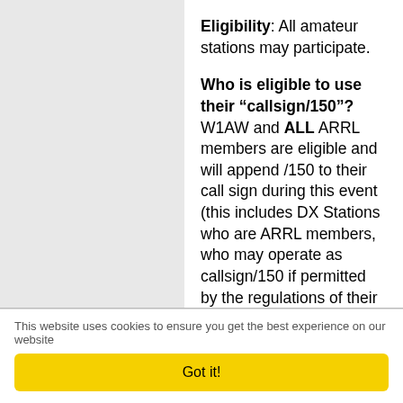Eligibility: All amateur stations may participate.

Who is eligible to use their “callsign/150”?  W1AW and ALL ARRL members are eligible and will append /150 to their call sign during this event (this includes DX Stations who are ARRL members, who may operate as callsign/150 if permitted by the regulations of their country of license).
This website uses cookies to ensure you get the best experience on our website
Got it!